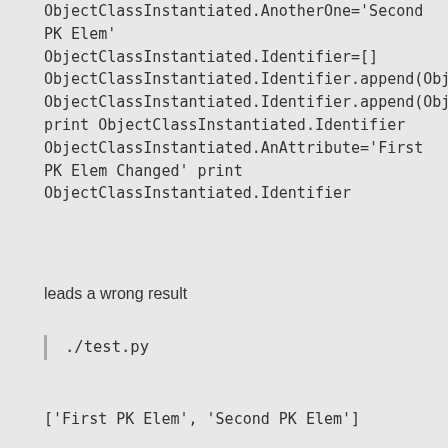ObjectClassInstantiated.AnotherOne='Second PK Elem'
ObjectClassInstantiated.Identifier=[]
ObjectClassInstantiated.Identifier.append(ObjectClassInstantiated.AnAttribute)
ObjectClassInstantiated.Identifier.append(ObjectClassInstantiated.AnotherOne)
print ObjectClassInstantiated.Identifier
ObjectClassInstantiated.AnAttribute='First PK Elem Changed'
print ObjectClassInstantiated.Identifier
leads a wrong result
./test.py
['First PK Elem', 'Second PK Elem']